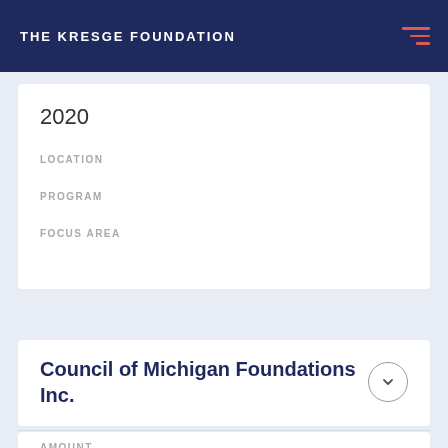THE KRESGE FOUNDATION
2020
LOCATION
PROGRAM
FOCUS AREA
Council of Michigan Foundations Inc.
AMOUNT